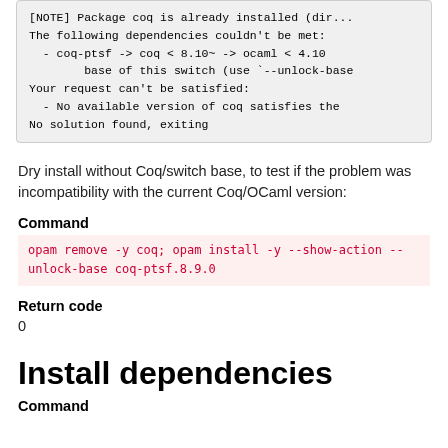[NOTE] Package coq is already installed (dir...
The following dependencies couldn't be met:
  - coq-ptsf -> coq < 8.10~ -> ocaml < 4.10
        base of this switch (use `--unlock-base
Your request can't be satisfied:
  - No available version of coq satisfies the
No solution found, exiting
Dry install without Coq/switch base, to test if the problem was incompatibility with the current Coq/OCaml version:
Command
opam remove -y coq; opam install -y --show-action --unlock-base coq-ptsf.8.9.0
Return code
0
Install dependencies
Command